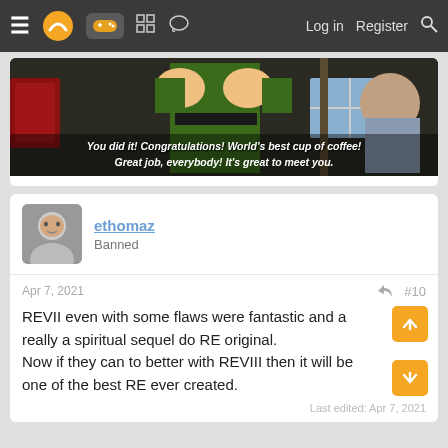≡ [logo] [gamepad icon] [grid icon] [chat icon]  Log in  Register  [search]
[Figure (screenshot): Movie scene from Elf showing a character in green elf costume with subtitle text: 'You did it! Congratulations! World's best cup of coffee! Great job, everybody! It's great to meet you.']
ethomaz
Banned
Apr 7, 2021
#10
REVII even with some flaws were fantastic and a really a spiritual sequel do RE original.
Now if they can to better with REVIII then it will be one of the best RE ever created.
Last edited: Apr 7, 2021